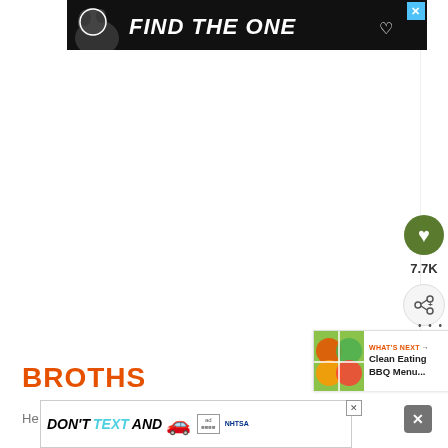[Figure (screenshot): Top advertisement banner: black background with a dog illustration and bold italic white text 'FIND THE ONE' with a heart symbol. Blue X close button in top right corner.]
[Figure (screenshot): Large white content area (main page content area, blank/loading).]
[Figure (screenshot): Right sidebar with dark olive green heart button, '7.7K' count text, and a share button with plus icon.]
[Figure (screenshot): What's Next card in bottom-right showing a food image thumbnail with orange arrow and text 'Clean Eating BBQ Menu...']
BROTHS
[Figure (screenshot): Bottom advertisement banner: white background with bold text 'DON'T TEXT AND' followed by a red car emoji, an 'ad' info box, and NHTSA logo. Has an X close button.]
He... (partial text visible, cut off) ...a sto... ...with...it